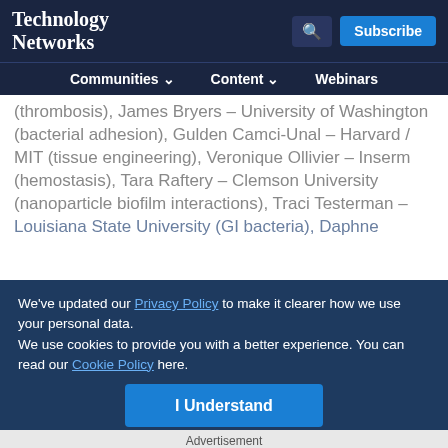Technology Networks — Communities | Content | Webinars | Subscribe
(thrombosis), James Bryers – University of Washington (bacterial adhesion), Gulden Camci-Unal – Harvard / MIT (tissue engineering), Veronique Ollivier – Inserm (hemostasis), Tara Raftery – Clemson University (nanoparticle biofilm interactions), Traci Testerman – Louisiana State University (GI bacteria), Daphne ... University of Missouri ... and Barbara Vanhoecke – Ghent University (oral microbiology)
We've updated our Privacy Policy to make it clearer how we use your personal data.
We use cookies to provide you with a better experience. You can read our Cookie Policy here.
I Understand
Advertisement
[Figure (other): Somalogic advertisement banner: 'Pioneer with 7,000 proteins']